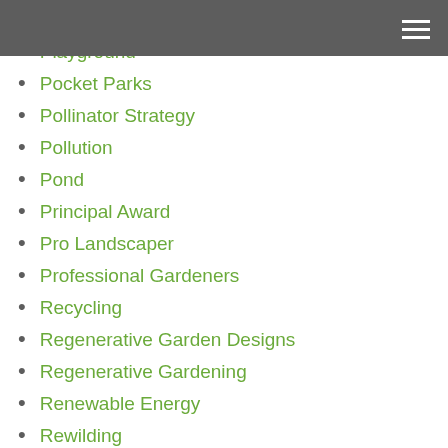Plants
Playground
Pocket Parks
Pollinator Strategy
Pollution
Pond
Principal Award
Pro Landscaper
Professional Gardeners
Recycling
Regenerative Garden Designs
Regenerative Gardening
Renewable Energy
Rewilding
Rewilding Article
RHS Chelsea
RHS Garden Wisley
RHS Hampton Court